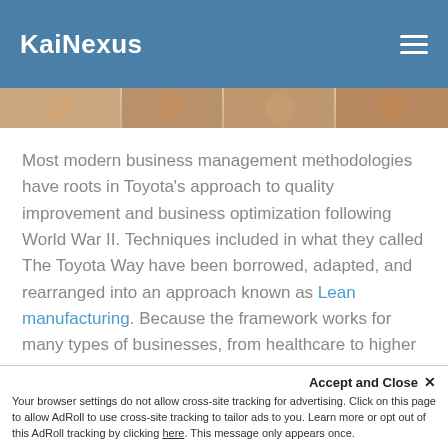KaiNexus
[Figure (photo): Partial photo strip of people, cropped at top edge of content area]
Most modern business management methodologies have roots in Toyota's approach to quality improvement and business optimization following World War II. Techniques included in what they called The Toyota Way have been borrowed, adapted, and rearranged into an approach known as Lean manufacturing. Because the framework works for many types of businesses, from healthcare to higher education, it is now often referred to as simply Lean.
Accept and Close ✕ Your browser settings do not allow cross-site tracking for advertising. Click on this page to allow AdRoll to use cross-site tracking to tailor ads to you. Learn more or opt out of this AdRoll tracking by clicking here. This message only appears once.